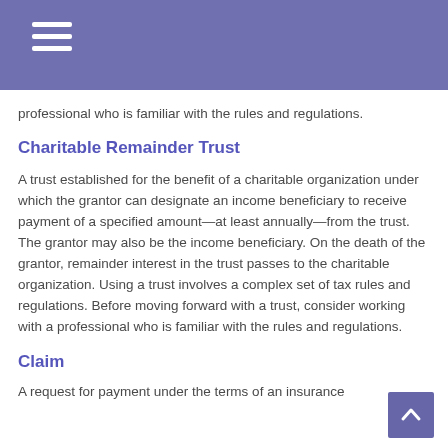professional who is familiar with the rules and regulations.
Charitable Remainder Trust
A trust established for the benefit of a charitable organization under which the grantor can designate an income beneficiary to receive payment of a specified amount—at least annually—from the trust. The grantor may also be the income beneficiary. On the death of the grantor, remainder interest in the trust passes to the charitable organization. Using a trust involves a complex set of tax rules and regulations. Before moving forward with a trust, consider working with a professional who is familiar with the rules and regulations.
Claim
A request for payment under the terms of an insurance